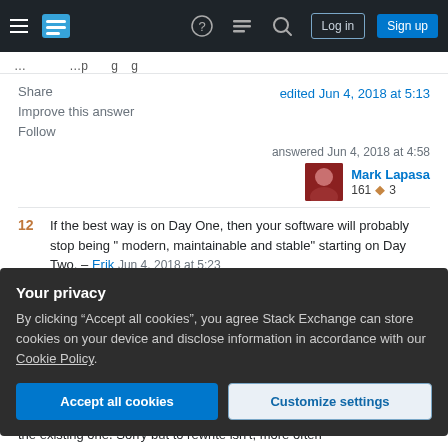Stack Exchange navigation bar with hamburger menu, logo, help, chat, search icons, Log in and Sign up buttons
edited Jun 4, 2018 at 5:13
Share
Improve this answer
Follow
answered Jun 4, 2018 at 4:58
Mark Lapasa
161 ◆ 3
12  If the best way is on Day One, then your software will probably stop being " modern, maintainable and stable" starting on Day Two. – Erik  Jun 4, 2018 at 5:23
Your privacy
By clicking "Accept all cookies", you agree Stack Exchange can store cookies on your device and disclose information in accordance with our Cookie Policy.
Accept all cookies   Customize settings
the existing one. Sorry but to rewrite isn't, more often